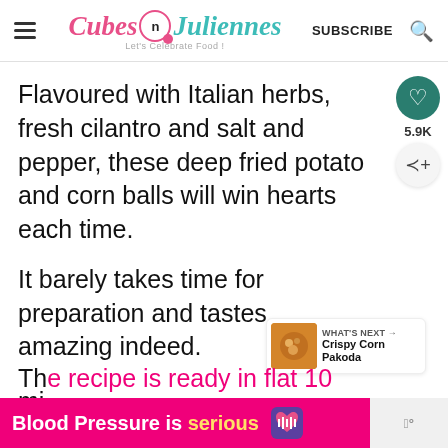Cubes n Juliennes — Let's Celebrate Food! — SUBSCRIBE
Flavoured with Italian herbs, fresh cilantro and salt and pepper, these deep fried potato and corn balls will win hearts each time.
It barely takes time for preparation and tastes amazing indeed.
The recipe is ready in flat 10 minutes out
[Figure (other): Advertisement banner: 'Blood Pressure is serious' with heart icon and logo]
WHAT'S NEXT → Crispy Corn Pakoda